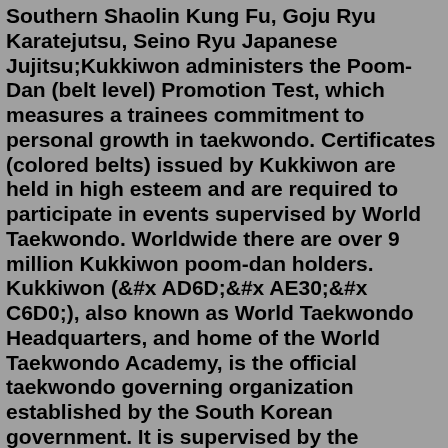Southern Shaolin Kung Fu, Goju Ryu Karatejutsu, Seino Ryu Japanese Jujitsu;Kukkiwon administers the Poom-Dan (belt level) Promotion Test, which measures a trainees commitment to personal growth in taekwondo. Certificates (colored belts) issued by Kukkiwon are held in high esteem and are required to participate in events supervised by World Taekwondo. Worldwide there are over 9 million Kukkiwon poom-dan holders. Kukkiwon (국기원), also known as World Taekwondo Headquarters, and home of the World Taekwondo Academy, is the official taekwondo governing organization established by the South Korean government. It is supervised by the International Sports Division of the Ministry of Culture, Sports, and Tourism. Kukkiwon is based at 635 Yeoksam-Dong ...The Kukkiwon, also known as the World Taekwondo Headquarters, home of the World Taekwondo Academy, is the official Taekwondo governing organization established by the South Korean government. It is supervised by the International Sports Division of the Ministry of